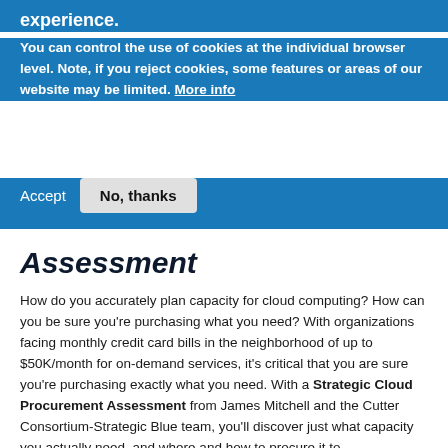experience.
You can control the use of cookies at the individual browser level. Note, if you reject cookies, some features or areas of our website may be limited. More info
Accept   No, thanks
Assessment
How do you accurately plan capacity for cloud computing? How can you be sure you're purchasing what you need? With organizations facing monthly credit card bills in the neighborhood of up to $50K/month for on-demand services, it's critical that you are sure you're purchasing exactly what you need. With a Strategic Cloud Procurement Assessment from James Mitchell and the Cutter Consortium-Strategic Blue team, you'll discover just what capacity you actually need, and where and how to procure it to